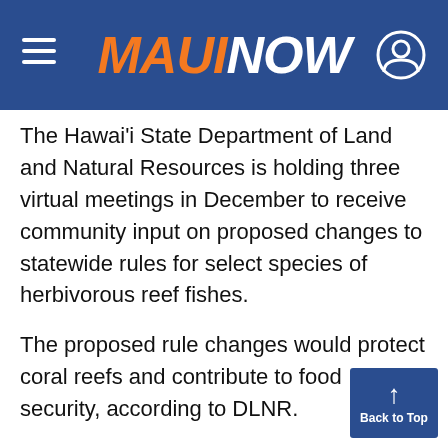MAUI NOW
The Hawai'i State Department of Land and Natural Resources is holding three virtual meetings in December to receive community input on proposed changes to statewide rules for select species of herbivorous reef fishes.
The proposed rule changes would protect coral reefs and contribute to food security, according to DLNR.
Coral reefs are intricate, sensitive ecosystems that are facing numerous threats on both the local and global scale. Healthy coral reefs are critical to the economy, as a natural and cultural resource, and as a sustainable source of food. One study estimates nearshore fishery provides more than 7 million